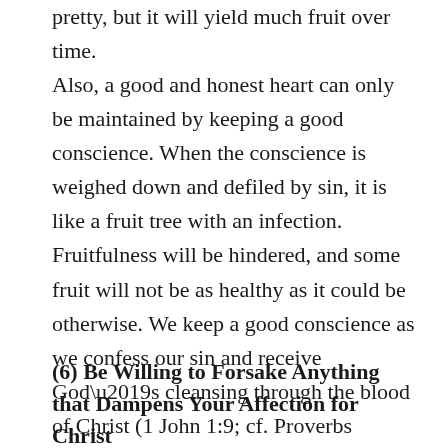pretty, but it will yield much fruit over time.
Also, a good and honest heart can only be maintained by keeping a good conscience. When the conscience is weighed down and defiled by sin, it is like a fruit tree with an infection. Fruitfulness will be hindered, and some fruit will not be as healthy as it could be otherwise. We keep a good conscience as we confess our sin and receive God’s cleansing through the blood of Christ (1 John 1:9; cf. Proverbs 28:13).
(6) Be Willing to Forsake Anything that Dampens Your Affection for Christ